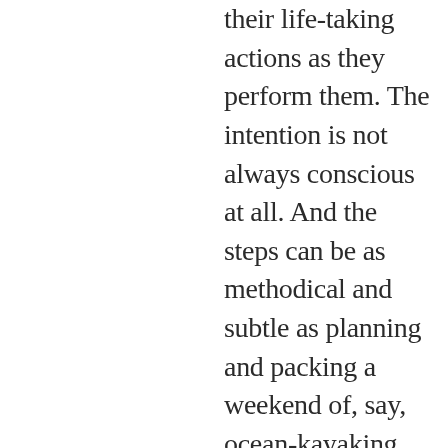their life-taking actions as they perform them. The intention is not always conscious at all. And the steps can be as methodical and subtle as planning and packing a weekend of, say, ocean-kayaking alone, while being oblivious to the weather reports of high wind. It can be dreamily stepping off the curb into an oncoming bus. You think it must be a deliberate and conscious act. The life-taking urge can be disconnected from thought or feeling. Johhny and others